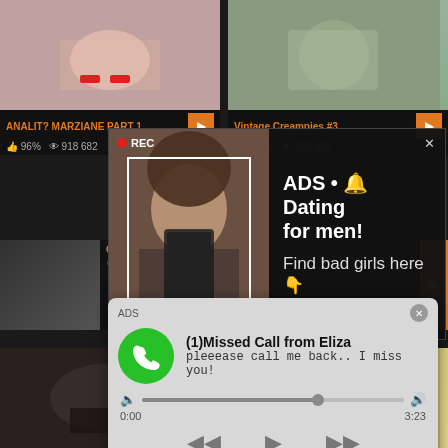[Figure (screenshot): Adult video thumbnail left - legs in heels]
ANALIT? MARZIANE PART 1
96%  918 682
[Figure (screenshot): Adult video thumbnail right - vintage]
Vintage Creampies #3
100%  223 029
[Figure (screenshot): Ad overlay: woman taking selfie with REC indicator and camera frame overlay]
ADS • 🔔 Dating for men! Find bad girls here 👇
OLDX...  90%
[Figure (screenshot): Phone ad overlay: (1)Missed Call from Eliza - pleeease call me back.. I miss you! with audio player]
ADS
(1)Missed Call from Eliza
pleeease call me back.. I miss you!
0:00
3:23
[Figure (screenshot): Bottom left adult video thumbnail - dark scene]
[Figure (screenshot): Bottom right adult video thumbnail - blonde]